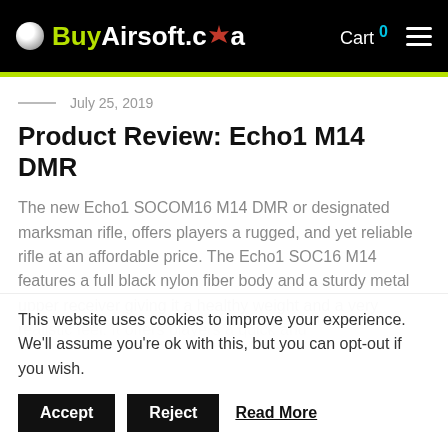BuyAirsoft.ca — Cart 0
July 25, 2019
Product Review: Echo1 M14 DMR
The new Echo1 SOCOM16 M14 DMR or designated marksman rifle, offers players a rugged, and yet reliable rifle at an affordable price. The Echo1 SOC16 M14 features a full black nylon fiber body and a sturdy metal upper receiver giving it a healthy weight and a very realistic feel. It offers players a quick and...
This website uses cookies to improve your experience. We'll assume you're ok with this, but you can opt-out if you wish.
Accept   Reject   Read More